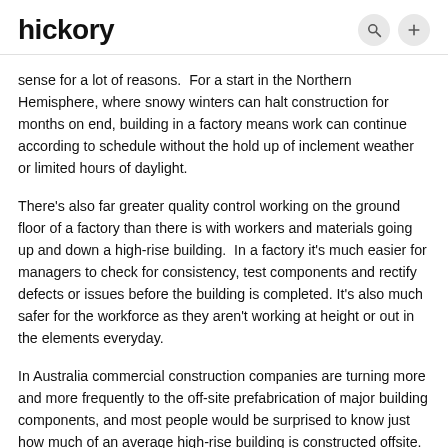hickory
sense for a lot of reasons.  For a start in the Northern Hemisphere, where snowy winters can halt construction for months on end, building in a factory means work can continue according to schedule without the hold up of inclement weather or limited hours of daylight.
There's also far greater quality control working on the ground floor of a factory than there is with workers and materials going up and down a high-rise building.  In a factory it's much easier for managers to check for consistency, test components and rectify defects or issues before the building is completed. It's also much safer for the workforce as they aren't working at height or out in the elements everyday.
In Australia commercial construction companies are turning more and more frequently to the off-site prefabrication of major building components, and most people would be surprised to know just how much of an average high-rise building is constructed offsite.